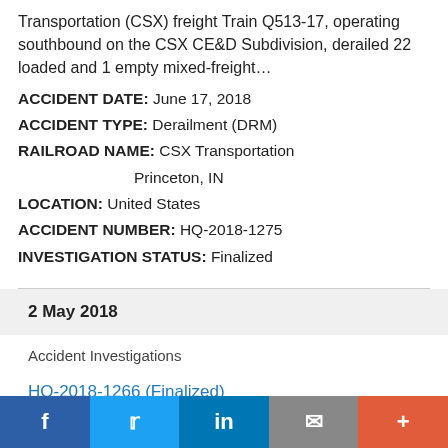Transportation (CSX) freight Train Q513-17, operating southbound on the CSX CE&D Subdivision, derailed 22 loaded and 1 empty mixed-freight…
ACCIDENT DATE: June 17, 2018
ACCIDENT TYPE: Derailment (DRM)
RAILROAD NAME: CSX Transportation
                Princeton, IN
LOCATION: United States
ACCIDENT NUMBER: HQ-2018-1275
INVESTIGATION STATUS: Finalized
2 May 2018
Accident Investigations
HQ-2018-1266 (Finalized)